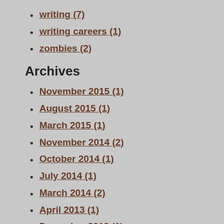writing (7)
writing careers (1)
zombies (2)
Archives
November 2015 (1)
August 2015 (1)
March 2015 (1)
November 2014 (2)
October 2014 (1)
July 2014 (1)
March 2014 (2)
April 2013 (1)
December 2012 (1)
November 2012 (1)